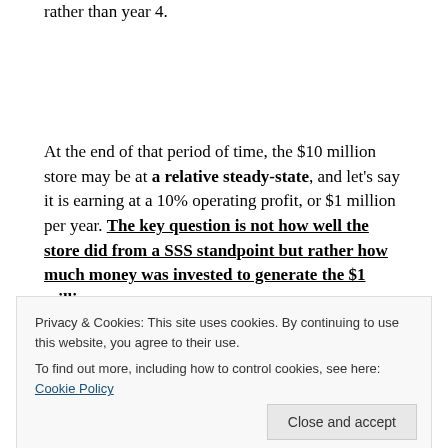rather than year 4.
At the end of that period of time, the $10 million store may be at a relative steady-state, and let's say it is earning at a 10% operating profit, or $1 million per year. The key question is not how well the store did from a SSS standpoint but rather how much money was invested to generate the $1 million
Privacy & Cookies: This site uses cookies. By continuing to use this website, you agree to their use.
To find out more, including how to control cookies, see here: Cookie Policy
would not be attractive at all. Nevertheless,